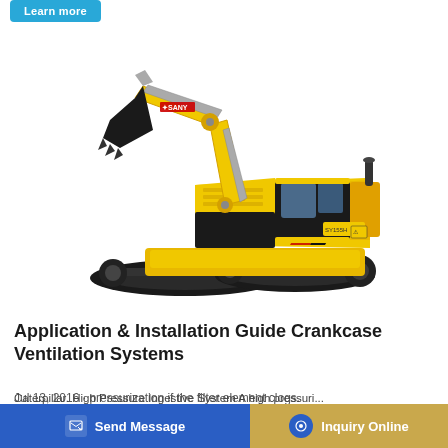[Figure (photo): Yellow SANY tracked excavator on white background, side view with boom arm raised and bucket lowered]
Application & Installation Guide Crankcase Ventilation Systems
Jul 13, 2016 · pressurization if the filter element clogs. ... ntial ... Caterpillar. High Pressure Ingestive System A high pressuri...